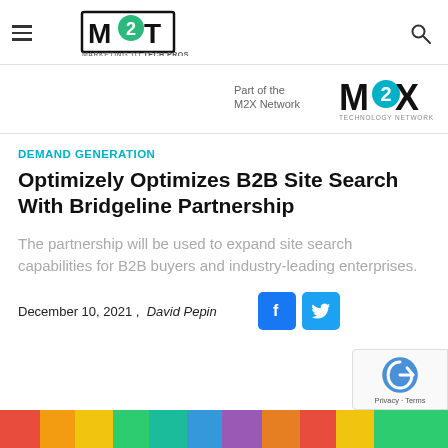M2T — Marketing to Tech Pros
[Figure (logo): M2X Network logo — Part of the M2X Network, Technology Network]
DEMAND GENERATION
Optimizely Optimizes B2B Site Search With Bridgeline Partnership
The partnership will be used to expand site search capabilities for B2B buyers and industry-leading enterprises.
December 10, 2021 ,  David Pepin
[Figure (photo): Bottom image strip showing colorful bars/stripes]